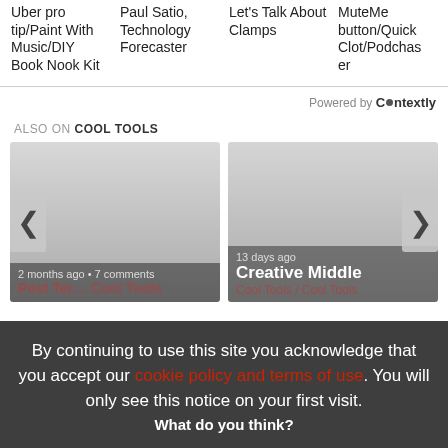Uber pro tip/Paint With Music/DIY Book Nook Kit
Paul Satio, Technology Forecaster
Let's Talk About Clamps
MuteMe button/Quick Clot/Podchasor
Powered by Contextly
ALSO ON COOL TOOLS
[Figure (screenshot): Card with gradient background, 2 months ago • 7 comments]
[Figure (screenshot): Card with gradient background, 13 days ago, Creative Middle]
By continuing to use this site you acknowledge that you accept our cookie policy and terms of use. You will only see this notice on your first visit.
What do you think?